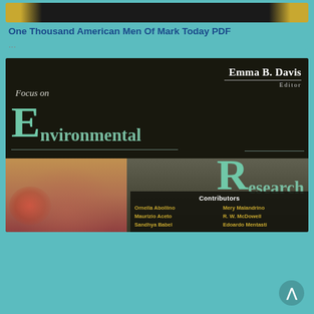[Figure (other): Partial view of a book cover with gold and dark background, cropped at top]
One Thousand American Men Of Mark Today PDF
...
[Figure (illustration): Book cover: Focus on Environmental Research, edited by Emma B. Davis. Dark background with teal/green large lettering. Contributors listed: Ornella Abollino, Maurizio Aceto, Sandhya Babel (partially visible), Mery Malandrino, R. W. McDowell, Edoardo Mentasti (partially visible). Floral/nature imagery at bottom left.]